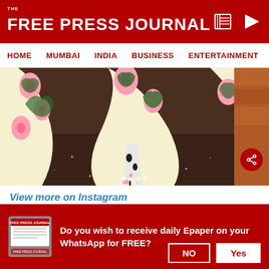THE FREE PRESS JOURNAL
HOME  MUMBAI  INDIA  BUSINESS  ENTERTAINMENT  SPO
[Figure (photo): Close-up photo of person wearing floral dress with pink roses and floral high-heel shoes, standing on a dark glittery surface]
View more on Instagram
1,395,740 likes
Do you wish to receive daily Epaper on your WhatsApp for FREE?